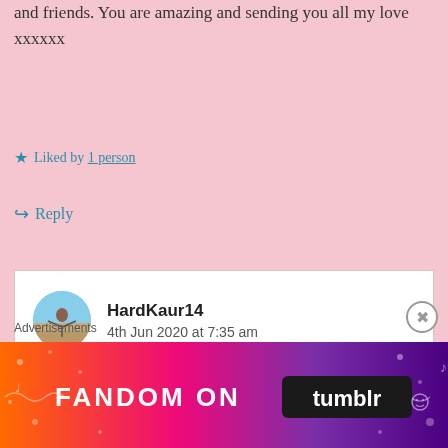and friends. You are amazing and sending you all my love xxxxxx
★ Liked by 1 person
↪ Reply
HardKaur14
4th Jun 2020 at 7:35 am

Well Im not but I am trying my best every day. Each day is better than the
Advertisements
[Figure (illustration): Fandom on Tumblr advertisement banner with colorful gradient background (orange to purple) featuring the text 'FANDOM ON tumblr' with decorative icons]